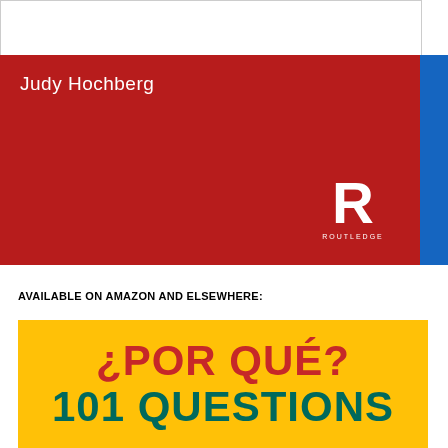[Figure (illustration): White top portion of a book cover with gray border]
[Figure (illustration): Red Routledge book cover showing author name 'Judy Hochberg' in white text, with Routledge logo in bottom right corner and blue strip on right side]
AVAILABLE ON AMAZON AND ELSEWHERE:
[Figure (illustration): Yellow book cover with red text '¿POR QUÉ?' and teal/green text '101 QUESTIONS']